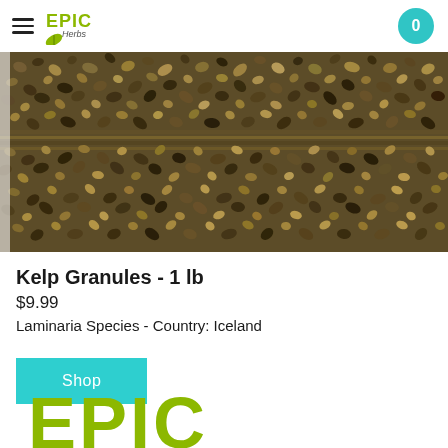Epic Herbs - navigation header with hamburger menu and cart (0)
[Figure (photo): Close-up photo of kelp granules — small dark brown and tan irregular pebble-like pieces densely packed together]
Kelp Granules - 1 lb
$9.99
Laminaria Species - Country: Iceland
Shop
[Figure (logo): Epic Herbs logo (large, partial view at bottom of page) — EPIC in large olive/yellow-green bold letters with a leaf graphic below]